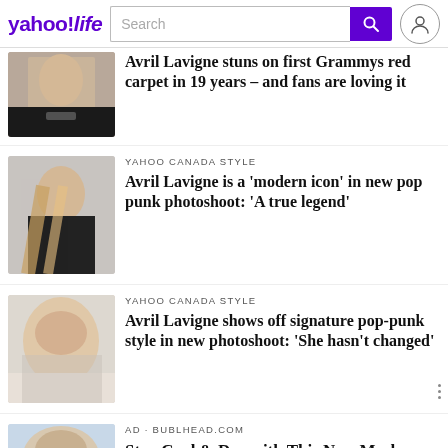yahoo!life — Search bar — user icon
Avril Lavigne stuns on first Grammys red carpet in 19 years – and fans are loving it
YAHOO CANADA STYLE
Avril Lavigne is a 'modern icon' in new pop punk photoshoot: 'A true legend'
YAHOO CANADA STYLE
Avril Lavigne shows off signature pop-punk style in new photoshoot: 'She hasn't changed'
AD · BUBLHEAD.COM
Stay Cool & Dry with This New Mask Enhancer